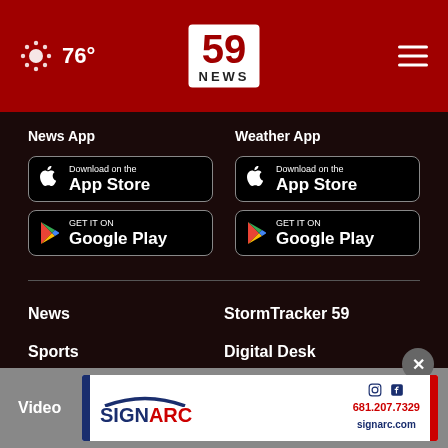76° | 59 NEWS
News App
[Figure (screenshot): Download on the App Store button (black)]
[Figure (screenshot): Get it on Google Play button (black)]
Weather App
[Figure (screenshot): Download on the App Store button (black)]
[Figure (screenshot): Get it on Google Play button (black)]
News
StormTracker 59
Sports
Digital Desk
Community
Contests
Video
[Figure (logo): SignArc advertisement banner with logo, phone number 681.207.7329 and website signarc.com]